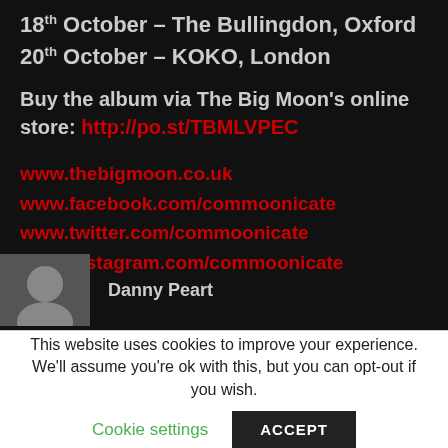18th October – The Bullingdon, Oxford
20th October – KOKO, London
Buy the album via The Big Moon's online store: http://po.st/TBMLVPEC
www.thebigmoon.co.uk
www.facebook.com/commoonicate
www.twitter.com/commoonicate
www.instagram.com/commoonicate
Danny Peart
This website uses cookies to improve your experience. We'll assume you're ok with this, but you can opt-out if you wish.
Cookie settings
ACCEPT